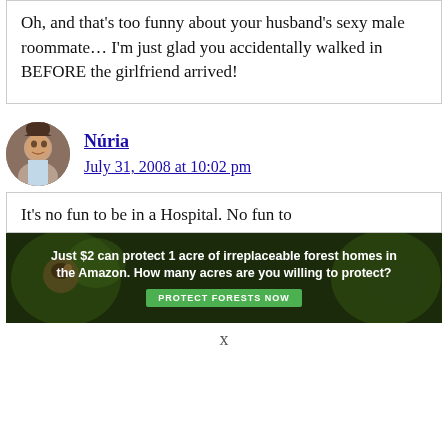Oh, and that's too funny about your husband's sexy male roommate… I'm just glad you accidentally walked in BEFORE the girlfriend arrived!
Núria
July 31, 2008 at 10:02 pm
It's no fun to be in a Hospital. No fun to be in a fun to …that horrible…
[Figure (infographic): Advertisement banner: 'Just $2 can protect 1 acre of irreplaceable forest homes in the Amazon. How many acres are you willing to protect?' with PROTECT FORESTS NOW button, dark forest background with animal imagery]
x